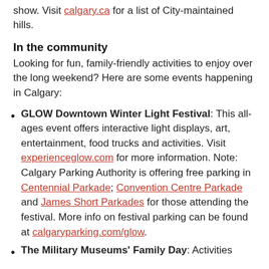show. Visit calgary.ca for a list of City-maintained hills.
In the community
Looking for fun, family-friendly activities to enjoy over the long weekend? Here are some events happening in Calgary:
GLOW Downtown Winter Light Festival: This all-ages event offers interactive light displays, art, entertainment, food trucks and activities. Visit experienceglow.com for more information. Note: Calgary Parking Authority is offering free parking in Centennial Parkade; Convention Centre Parkade and James Short Parkades for those attending the festival. More info on festival parking can be found at calgaryparking.com/glow.
The Military Museums' Family Day: Activities